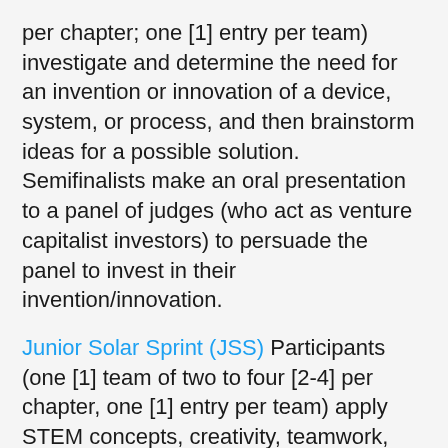per chapter; one [1] entry per team) investigate and determine the need for an invention or innovation of a device, system, or process, and then brainstorm ideas for a possible solution. Semifinalists make an oral presentation to a panel of judges (who act as venture capitalist investors) to persuade the panel to invest in their invention/innovation.
Junior Solar Sprint (JSS) Participants (one [1] team of two to four [2-4] per chapter, one [1] entry per team) apply STEM concepts, creativity, teamwork, and problem-solving skills as they design, construct, and race a solar-powered model car.